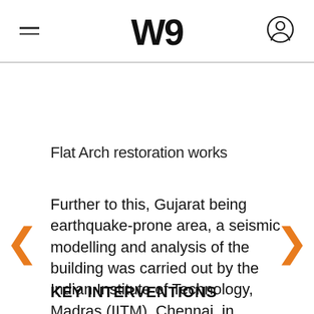W
Flat Arch restoration works
Further to this, Gujarat being earthquake-prone area, a seismic modelling and analysis of the building was carried out by the Indian Institute of Technology, Madras (IITM), Chennai, in collaboration with SNK.
KEY INTERVENTIONS